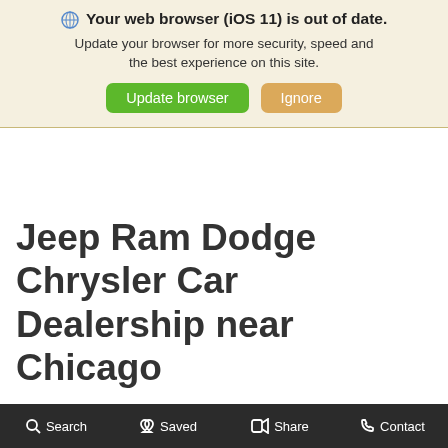🌐 Your web browser (iOS 11) is out of date. Update your browser for more security, speed and the best experience on this site.
Update browser | Ignore
Jeep Ram Dodge Chrysler Car Dealership near Chicago
Chicago Jeep RAM Chrysler Dodge Car
Search  Saved  Share  Contact